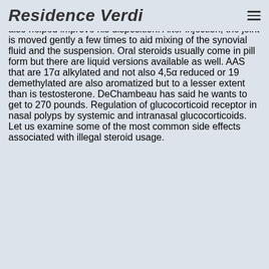Residence Verdi
low testosterone runs in his family and that using it has also helped improve his disposition. After injection, the joint is moved gently a few times to aid mixing of the synovial fluid and the suspension. Oral steroids usually come in pill form but there are liquid versions available as well. AAS that are 17α alkylated and not also 4,5α reduced or 19 demethylated are also aromatized but to a lesser extent than is testosterone. DeChambeau has said he wants to get to 270 pounds. Regulation of glucocorticoid receptor in nasal polyps by systemic and intranasal glucocorticoids. Let us examine some of the most common side effects associated with illegal steroid usage.